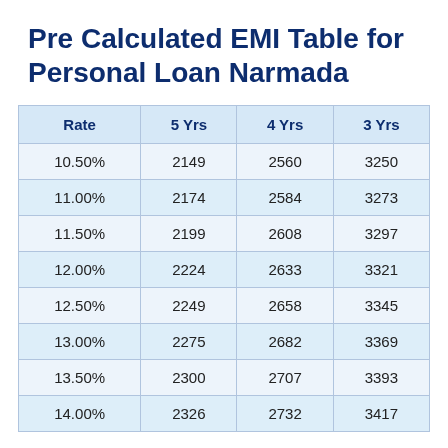Pre Calculated EMI Table for Personal Loan Narmada
| Rate | 5 Yrs | 4 Yrs | 3 Yrs |
| --- | --- | --- | --- |
| 10.50% | 2149 | 2560 | 3250 |
| 11.00% | 2174 | 2584 | 3273 |
| 11.50% | 2199 | 2608 | 3297 |
| 12.00% | 2224 | 2633 | 3321 |
| 12.50% | 2249 | 2658 | 3345 |
| 13.00% | 2275 | 2682 | 3369 |
| 13.50% | 2300 | 2707 | 3393 |
| 14.00% | 2326 | 2732 | 3417 |